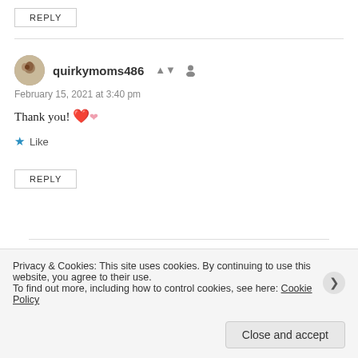REPLY
quirkymoms486
February 15, 2021 at 3:40 pm
Thank you! 💕
★ Like
REPLY
Privacy & Cookies: This site uses cookies. By continuing to use this website, you agree to their use.
To find out more, including how to control cookies, see here: Cookie Policy
Close and accept